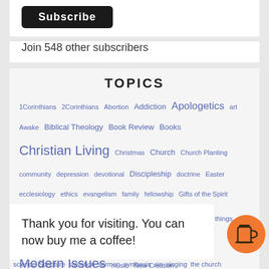[Figure (other): Subscribe button (black rounded rectangle)]
Join 548 other subscribers
TOPICS
1Corinthians  2Corinthians  Abortion  Addiction  Apologetics  art  Awake  Biblical Theology  Book Review  Books  Christian Living  Christmas  Church  Church Planting  community  depression  devotional  Discipleship  doctrine  Easter  ecclesiology  ethics  evangelism  family  fellowship  Gifts of the Spirit  Health Issues  Hell  History  Holy Spirit  Hot Topic  last things  Leadership  Literature  Marriage  Messiah  missions  Modern Issues  music  New Creation
Thank you for visiting. You can now buy me a coffee!